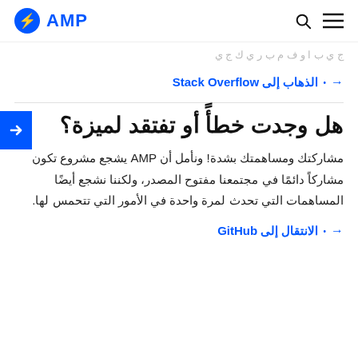AMP
الذهاب إلى Stack Overflow
هل وجدت خطأً أو تفتقد لميزة؟
مشاركتك ومساهمتك بشدة! ونأمل أن AMP يشجع مشروع تكون مشاركاً دائمًا في مجتمعنا مفتوح المصدر، ولكننا نشجع أيضًا المساهمات التي تحدث لمرة واحدة في الأمور التي تتحمس لها.
الانتقال إلى GitHub